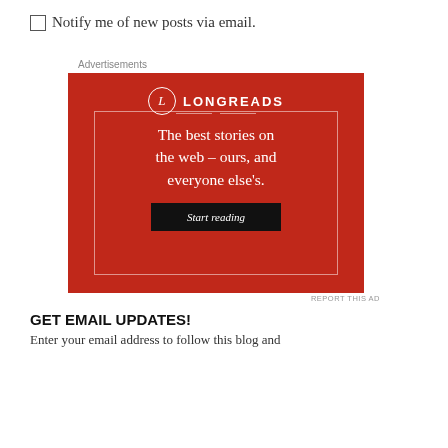Notify me of new posts via email.
Advertisements
[Figure (other): Longreads advertisement banner on red background with text: The best stories on the web – ours, and everyone else's. Start reading button.]
REPORT THIS AD
GET EMAIL UPDATES!
Enter your email address to follow this blog and